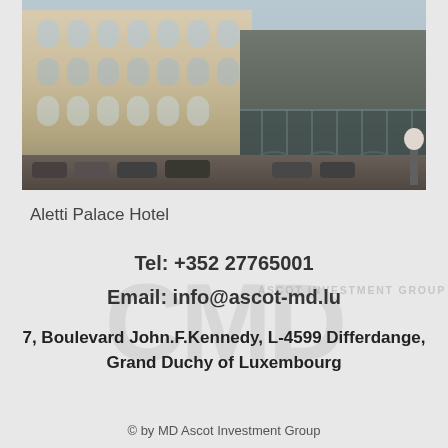[Figure (photo): Exterior photograph of the Aletti Palace Hotel building facade, showing classical European architecture with arched windows, ornate columns, and a modern glass canopy extension on the right side. Cars are parked in front.]
Aletti Palace Hotel
Tel: +352 27765001
Email: info@ascot-md.lu
7, Boulevard John.F.Kennedy, L-4599 Differdange, Grand Duchy of Luxembourg
© by MD Ascot Investment Group